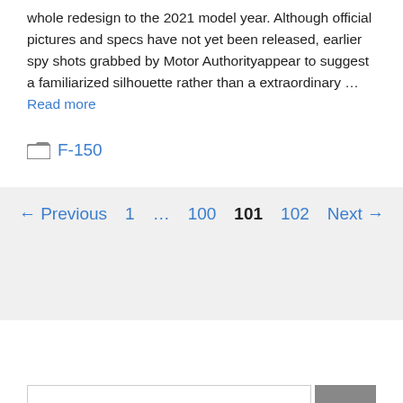whole redesign to the 2021 model year. Although official pictures and specs have not yet been released, earlier spy shots grabbed by Motor Authorityappear to suggest a familiarized silhouette rather than a extraordinary … Read more
F-150
← Previous 1 … 100 101 102 Next →